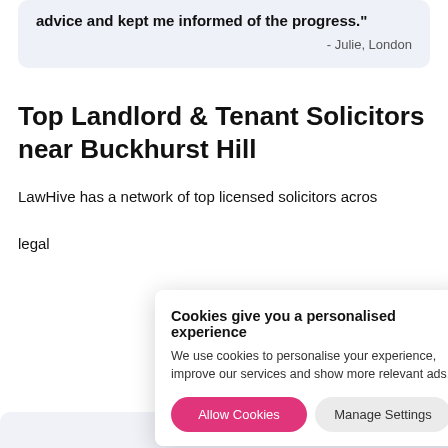advice and kept me informed of the progress."
- Julie, London
Top Landlord & Tenant Solicitors near Buckhurst Hill
LawHive has a network of top licensed solicitors across different areas and can help you with legal matters.
Cookies give you a personalised experience
We use cookies to personalise your experience, improve our services and show more relevant ads.
Allow Cookies
Manage Settings